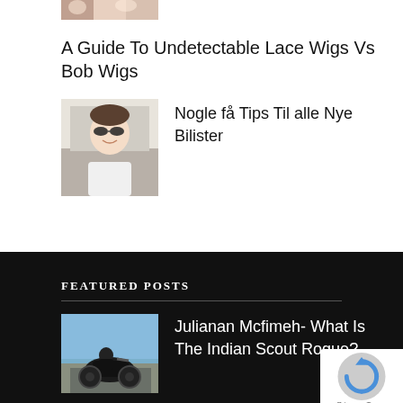[Figure (photo): Partial thumbnail image at top, cropped]
A Guide To Undetectable Lace Wigs Vs Bob Wigs
[Figure (photo): Thumbnail of a young man wearing sunglasses sitting in a car]
Nogle få Tips Til alle Nye Bilister
FEATURED POSTS
[Figure (photo): Thumbnail of a person riding a motorcycle on a road]
Julianan Mcfimeh- What Is The Indian Scout Rogue?